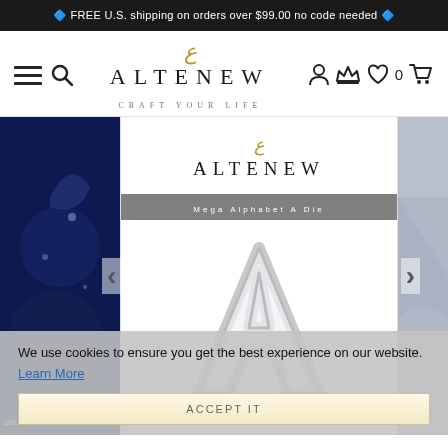🔷 FREE U.S. shipping on orders over $99.00 no code needed 🔷
[Figure (logo): Altenew logo with decorative ampersand/Arabic letter above, text ALTENEW, tagline CRAFT YOUR LIFE, with navigation icons (hamburger menu, search, user, crown, heart, cart)]
[Figure (screenshot): E-commerce product page carousel showing Altenew Mega Alphabet A Die product with large letter A die image in center panel, dark blue craft project on left, gray architectural image on right, with prev/next arrows]
We use cookies to ensure you get the best experience on our website. Learn More
ACCEPT IT
eta Fotinia